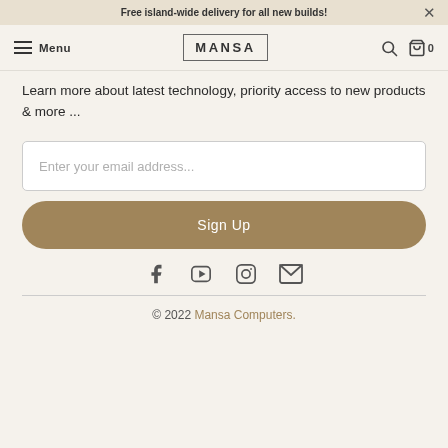Free island-wide delivery for all new builds!
[Figure (screenshot): MANSA website navigation bar with hamburger menu, MANSA logo, search icon, and cart icon showing 0 items]
Learn more about latest technology, priority access to new products & more ...
Enter your email address...
Sign Up
[Figure (infographic): Social media icons row: Facebook, YouTube, Instagram, Email]
© 2022 Mansa Computers.